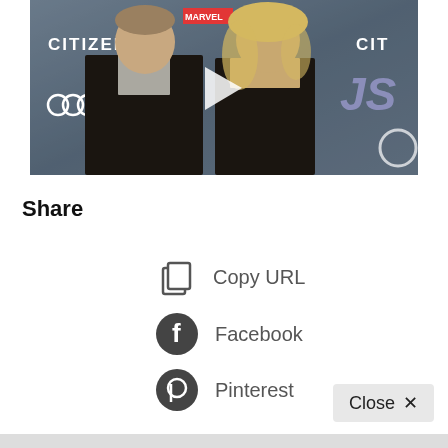[Figure (photo): A man in a dark suit and a woman in a black dress posing at what appears to be a Marvel Studios Avengers premiere event. Logos visible include CITIZEN, Audi, and Marvel Studios. A video play button overlay is visible in the center of the image.]
Share
Copy URL
Facebook
Pinterest